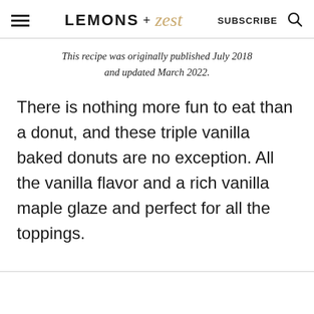LEMONS + zest  SUBSCRIBE  🔍
This recipe was originally published July 2018 and updated March 2022.
There is nothing more fun to eat than a donut, and these triple vanilla baked donuts are no exception. All the vanilla flavor and a rich vanilla maple glaze and perfect for all the toppings.